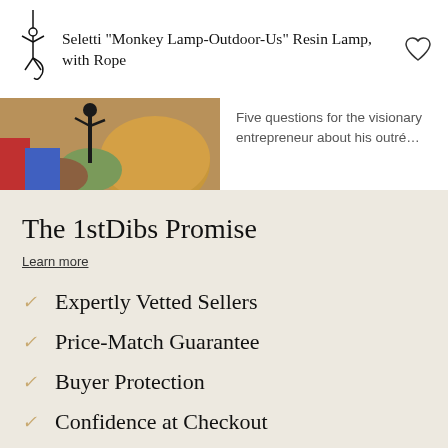Seletti "Monkey Lamp-Outdoor-Us" Resin Lamp, with Rope
[Figure (photo): Product photo showing a monkey lamp figurine among colorful cushions and cheese wheels]
Five questions for the visionary entrepreneur about his outré…
The 1stDibs Promise
Learn more
Expertly Vetted Sellers
Price-Match Guarantee
Buyer Protection
Confidence at Checkout